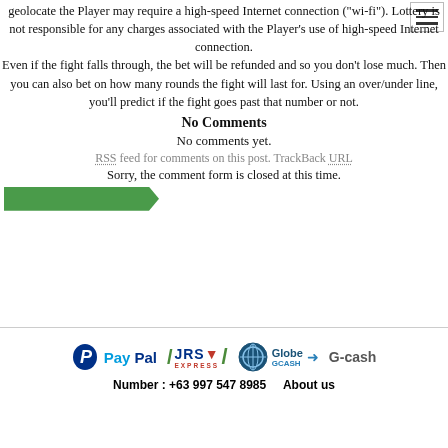geolocate the Player may require a high-speed Internet connection ("wi-fi"). Lottery is not responsible for any charges associated with the Player's use of high-speed Internet connection. Even if the fight falls through, the bet will be refunded and so you don't lose much. Then you can also bet on how many rounds the fight will last for. Using an over/under line, you'll predict if the fight goes past that number or not.
No Comments
No comments yet.
RSS feed for comments on this post. TrackBack URL
Sorry, the comment form is closed at this time.
[Figure (other): Green arrow/chevron button element]
[Figure (logo): PayPal, JRS Express, Globe GCash, and G-cash payment logos]
Number : +63 997 547 8985    About us